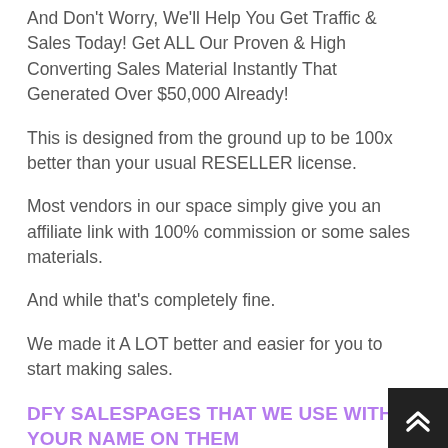And Don't Worry, We'll Help You Get Traffic & Sales Today! Get ALL Our Proven & High Converting Sales Material Instantly That Generated Over $50,000 Already!
This is designed from the ground up to be 100x better than your usual RESELLER license.
Most vendors in our space simply give you an affiliate link with 100% commission or some sales materials.
And while that's completely fine.
We made it A LOT better and easier for you to start making sales.
DFY SALESPAGES THAT WE USE WITH YOUR NAME ON THEM
The same sales pages you went through on your way